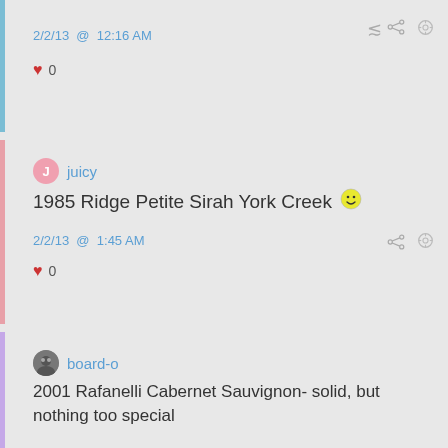2/2/13 @ 12:16 AM
♥ 0
juicy
1985 Ridge Petite Sirah York Creek 🙂
2/2/13 @ 1:45 AM
♥ 0
board-o
2001 Rafanelli Cabernet Sauvignon- solid, but nothing too special